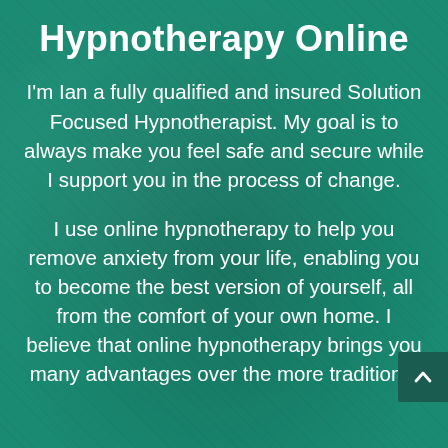Hypnotherapy Online
I'm Ian a fully qualified and insured Solution Focused Hypnotherapist. My goal is to always make you feel safe and secure while I support you in the process of change.
I use online hypnotherapy to help you remove anxiety from your life, enabling you to become the best version of yourself, all from the comfort of your own home. I believe that online hypnotherapy brings you many advantages over the more traditional